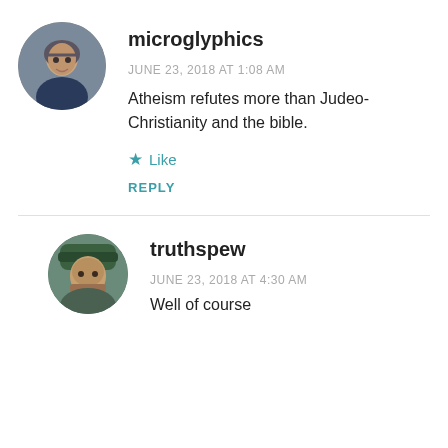[Figure (photo): Circular avatar of user microglyphics — older male face]
microglyphics
JUNE 23, 2018 AT 1:08 AM
Atheism refutes more than Judeo-Christianity and the bible.
★ Like
REPLY
[Figure (photo): Circular avatar of user truthspew — bearded male wearing green hat]
truthspew
JUNE 23, 2018 AT 4:30 AM
Well of course